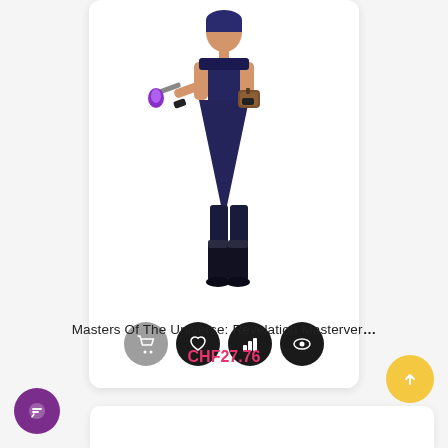[Figure (photo): Action figure of a character from Masters of the Universe: Revelation Masterverse. The figure wears dark blue/black armor with white trim, holds a purple-tipped weapon, and has a brown satchel. Standing pose.]
Masters Of The Universe: Revelation Masterver…
CHF27.76